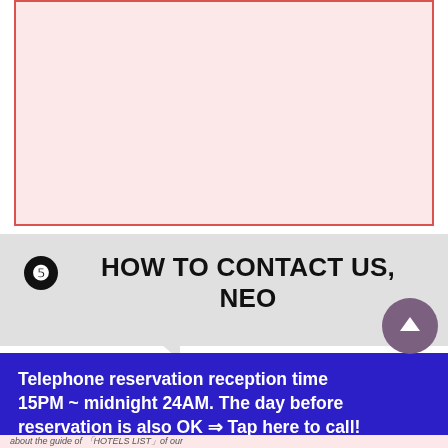[Figure (other): Large pink/light-red bordered rectangle, empty content area (image placeholder)]
❺ HOW TO CONTACT US, NEO TANTRA-TOKYO
Telephone reservation reception time 15PM ~ midnight 24AM. The day before reservation is also OK ⇒ Tap here to call!
about the guide of 「HOTELS LIST」of our